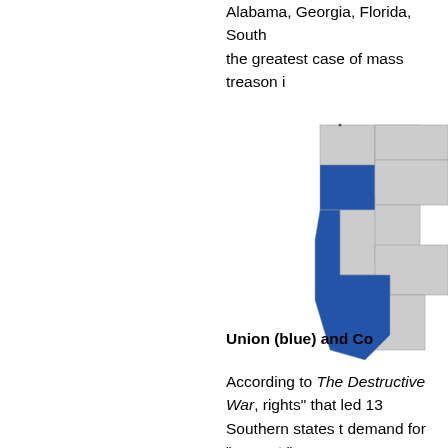Alabama, Georgia, Florida, South the greatest case of mass treason i
[Figure (map): Map of the western United States with two states highlighted in dark blue (Oregon and California), surrounded by gray states]
Union (blue) and Co
According to The Destructive War, rights" that led 13 Southern states t demand for "respect."
"The respect Southerners demande or of the equal rights of Northern a to take their chattels into Northern t
"It entailed, too, respect for their a